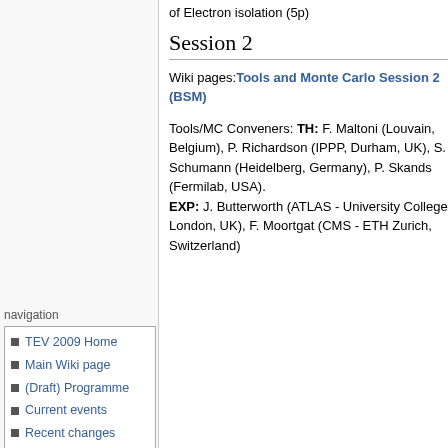of Electron isolation (5p)
Session 2
Wiki pages: Tools and Monte Carlo Session 2 (BSM)
Tools/MC Conveners: TH: F. Maltoni (Louvain, Belgium), P. Richardson (IPPP, Durham, UK), S. Schumann (Heidelberg, Germany), P. Skands (Fermilab, USA). EXP: J. Butterworth (ATLAS - University College London, UK), F. Moortgat (CMS - ETH Zurich, Switzerland)
navigation
TEV 2009 Home
Main Wiki page
(Draft) Programme
Current events
Recent changes
Random page
Help